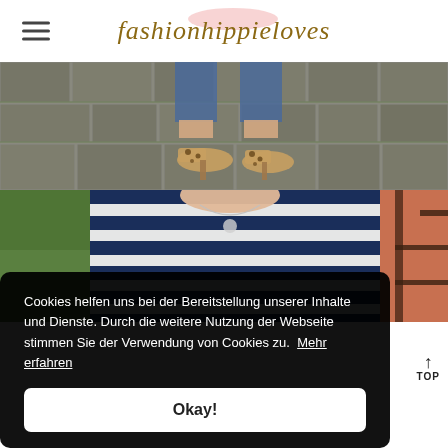fashionhippieloves
[Figure (photo): Two stacked fashion photos: top shows person's legs wearing jeans and leopard-print heels on cobblestone pavement; bottom shows person wearing a navy and white striped long-sleeve top with a necklace, outdoors with green foliage and half-timbered building visible]
Cookies helfen uns bei der Bereitstellung unserer Inhalte und Dienste. Durch die weitere Nutzung der Webseite stimmen Sie der Verwendung von Cookies zu. Mehr erfahren
Okay!